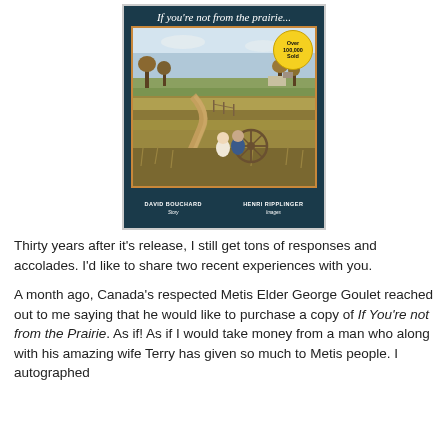[Figure (photo): Book cover of 'If you're not from the prairie...' by David Bouchard (Story) and Henri Ripplinger (Images), showing two children sitting in a prairie field with an old wagon wheel, a winding dirt road, farmland, and trees in the background. A gold badge reads 'Over 100,000 Sold'.]
Thirty years after it's release, I still get tons of responses and accolades. I'd like to share two recent experiences with you.
A month ago, Canada's respected Metis Elder George Goulet reached out to me saying that he would like to purchase a copy of If You're not from the Prairie. As if! As if I would take money from a man who along with his amazing wife Terry has given so much to Metis people. I autographed